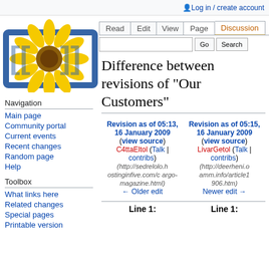Log in / create account
[Figure (logo): Wikipedia logo: sunflower with blue double-bracket frame]
Navigation
Main page
Community portal
Current events
Recent changes
Random page
Help
Toolbox
What links here
Related changes
Special pages
Printable version
Difference between revisions of "Our Customers"
| Revision as of 05:13, 16 January 2009 | Revision as of 05:15, 16 January 2009 |
| --- | --- |
| (view source) | (view source) |
| C4ttaEltol (Talk | contribs) | LivarGetol (Talk | contribs) |
| (http://sedrelolo.hostinginfive.com/cargo-magazine.html) | (http://deerheni.oamm.info/article1906.htm) |
| ← Older edit | Newer edit → |
Line 1:   Line 1: